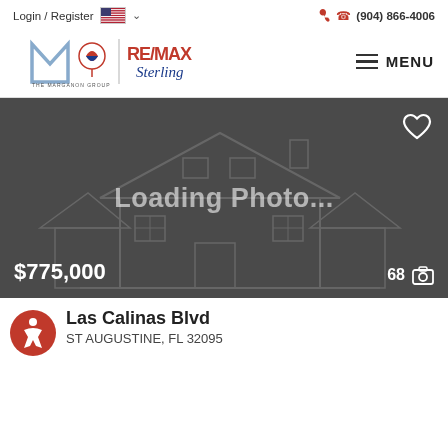Login / Register   (904) 866-4006
[Figure (logo): The Marganon Group RE/MAX Sterling logo with hamburger menu]
[Figure (photo): Loading Photo... placeholder image of a house outline on dark background showing price $775,000 and 68 photos]
Las Calinas Blvd
ST AUGUSTINE, FL 32095